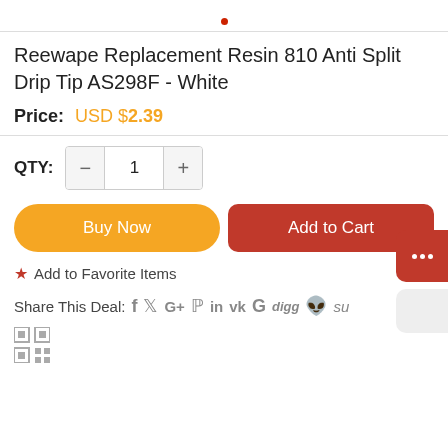Reewape Replacement Resin 810 Anti Split Drip Tip AS298F - White
Price: USD $2.39
QTY: 1
Buy Now
Add to Cart
★ Add to Favorite Items
Share This Deal: